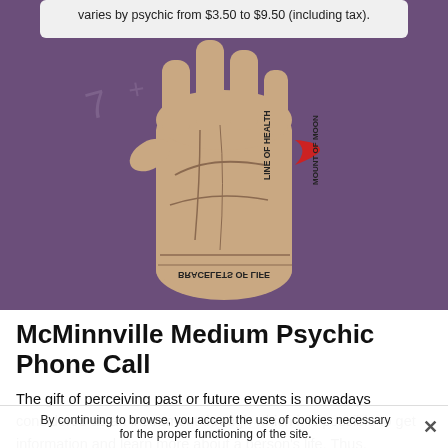varies by psychic from $3.50 to $9.50 (including tax).
[Figure (illustration): Illustration of a palm/hand with palmistry lines and text labels including 'BRACELETS OF LIFE', 'LINE OF HEALTH', 'MOUNT OF MOON', and symbolic markings. Set against a purple background.]
McMinnville Medium Psychic Phone Call
The gift of perceiving past or future events is nowadays considered as an instrument through which it is possible to get information and learn more about a person's life. Thus, clairvoyance teaches them more about their past, present and even their future in order to make them aware of
By continuing to browse, you accept the use of cookies necessary for the proper functioning of the site.